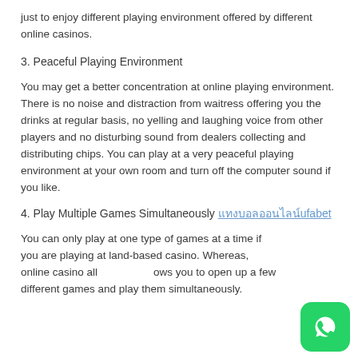just to enjoy different playing environment offered by different online casinos.
3. Peaceful Playing Environment
You may get a better concentration at online playing environment. There is no noise and distraction from waitress offering you the drinks at regular basis, no yelling and laughing voice from other players and no disturbing sound from dealers collecting and distributing chips. You can play at a very peaceful playing environment at your own room and turn off the computer sound if you like.
4. Play Multiple Games Simultaneously แทงบอลออนไลน์ufabet
You can only play at one type of games at a time if you are playing at land-based casino. Whereas, online casino allows you to open up a few different games and play them simultaneously.
[Figure (logo): WhatsApp green button icon in bottom right corner]